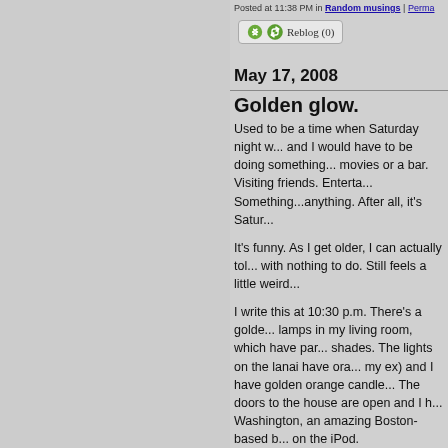Posted at 11:38 PM in Random musings | Perma...
Reblog (0)
May 17, 2008
Golden glow.
Used to be a time when Saturday night w... and I would have to be doing something... movies or a bar. Visiting friends. Enterta... Something...anything. After all, it's Satur...
It's funny. As I get older, I can actually tol... with nothing to do. Still feels a little weird...
I write this at 10:30 p.m. There's a golde... lamps in my living room, which have par... shades. The lights on the lanai have ora... my ex) and I have golden orange candle... The doors to the house are open and I h... Washington, an amazing Boston-based b... on the iPod.
It's in the 80s, there's a nice breeze. I'm r... pool. And I'm alone with nothing to do a...